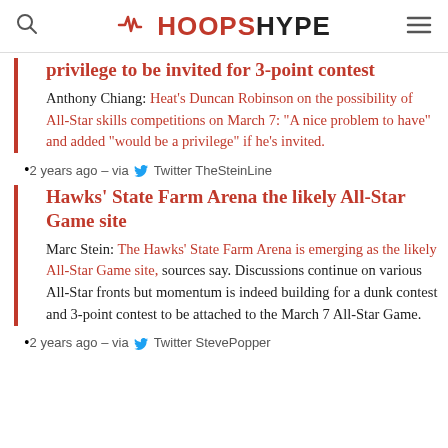HOOPSHYPE
privilege to be invited for 3-point contest
Anthony Chiang: Heat's Duncan Robinson on the possibility of All-Star skills competitions on March 7: "A nice problem to have" and added "would be a privilege" if he's invited.
2 years ago – via Twitter TheSteinLine
Hawks' State Farm Arena the likely All-Star Game site
Marc Stein: The Hawks' State Farm Arena is emerging as the likely All-Star Game site, sources say. Discussions continue on various All-Star fronts but momentum is indeed building for a dunk contest and 3-point contest to be attached to the March 7 All-Star Game.
2 years ago – via Twitter StevePopper